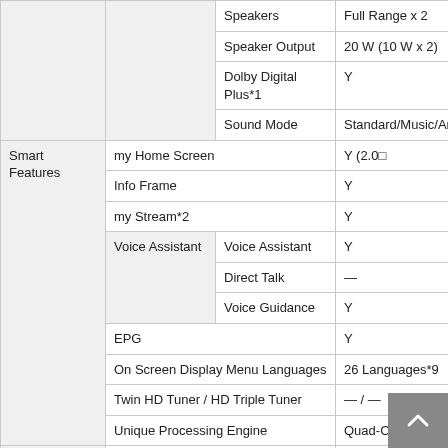| Category | Sub-category | Feature | Value |
| --- | --- | --- | --- |
|  |  | Speakers | Full Range x 2 |
|  |  | Speaker Output | 20 W (10 W x 2) |
|  |  | Dolby Digital Plus*1 | Y |
|  |  | Sound Mode | Standard/Music/Ambience/User |
| Smart Features | my Home Screen |  | Y (2.0■ |
|  | Info Frame |  | Y |
|  | my Stream*2 |  | Y |
|  | Voice Assistant | Voice Assistant | Y |
|  |  | Direct Talk | — |
|  |  | Voice Guidance | Y |
|  | EPG |  | Y |
|  | On Screen Display Menu Languages |  | 26 Languages*9 |
|  | Twin HD Tuner / HD Triple Tuner |  | — / — |
|  | Unique Processing Engine |  | Quad-Core Pro |
|  | Wireless LAN Built-in |  | Y |